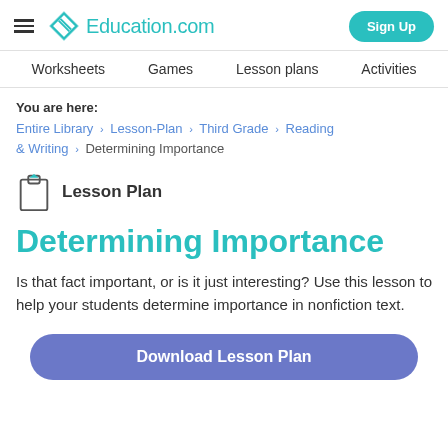Education.com | Sign Up
Worksheets  Games  Lesson plans  Activities
You are here:
Entire Library › Lesson-Plan › Third Grade › Reading & Writing › Determining Importance
Lesson Plan
Determining Importance
Is that fact important, or is it just interesting? Use this lesson to help your students determine importance in nonfiction text.
Download Lesson Plan